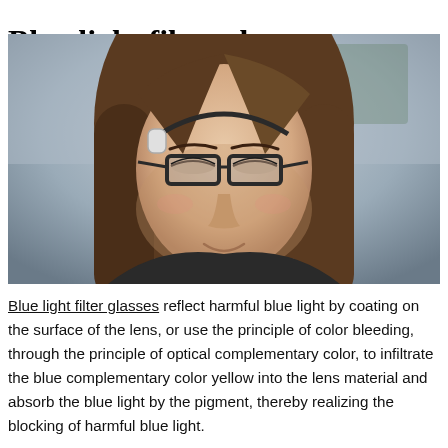Blue light filter glasses
[Figure (photo): A young woman with long brown hair wearing rectangular dark-framed blue light filter glasses, smiling slightly with eyes nearly closed, wearing a headset, against a blurred indoor background.]
Blue light filter glasses reflect harmful blue light by coating on the surface of the lens, or use the principle of color bleeding, through the principle of optical complementary color, to infiltrate the blue complementary color yellow into the lens material and absorb the blue light by the pigment, thereby realizing the blocking of harmful blue light.